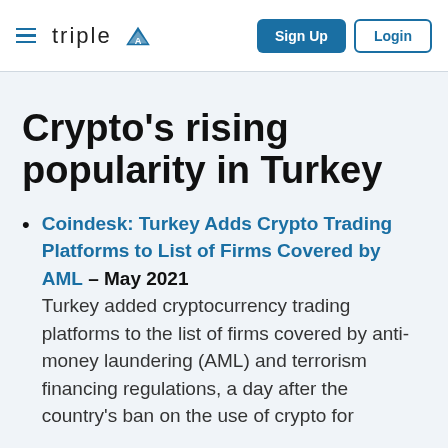triple A | Sign Up | Login
Crypto's rising popularity in Turkey
Coindesk: Turkey Adds Crypto Trading Platforms to List of Firms Covered by AML – May 2021
Turkey added cryptocurrency trading platforms to the list of firms covered by anti-money laundering (AML) and terrorism financing regulations, a day after the country's ban on the use of crypto for